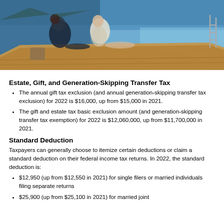[Figure (photo): Two people sitting on the deck of a wooden boat on water, viewed from above/behind]
Estate, Gift, and Generation-Skipping Transfer Tax
The annual gift tax exclusion (and annual generation-skipping transfer tax exclusion) for 2022 is $16,000, up from $15,000 in 2021.
The gift and estate tax basic exclusion amount (and generation-skipping transfer tax exemption) for 2022 is $12,060,000, up from $11,700,000 in 2021.
Standard Deduction
Taxpayers can generally choose to itemize certain deductions or claim a standard deduction on their federal income tax returns. In 2022, the standard deduction is:
$12,950 (up from $12,550 in 2021) for single filers or married individuals filing separate returns
$25,900 (up from $25,100 in 2021) for married joint